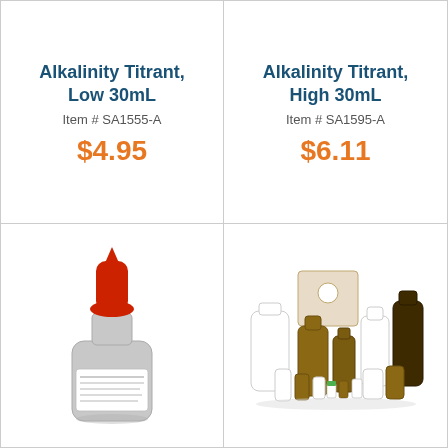Alkalinity Titrant, Low 30mL
Item # SA1555-A
$4.95
Alkalinity Titrant, High 30mL
Item # SA1595-A
$6.11
[Figure (photo): A small dropper bottle with red cap containing dark liquid, labeled as alkalinity titrant]
[Figure (photo): A collection of various laboratory bottles in different sizes and colors (white, amber, dark brown) along with a cardboard box]